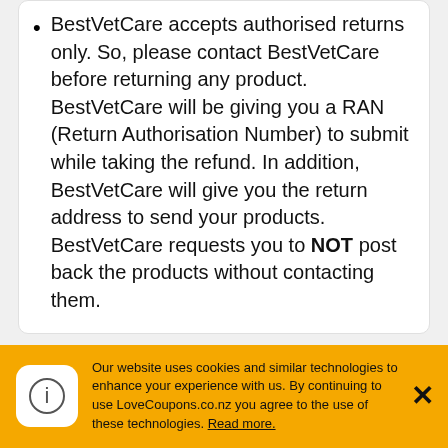BestVetCare accepts authorised returns only. So, please contact BestVetCare before returning any product. BestVetCare will be giving you a RAN (Return Authorisation Number) to submit while taking the refund. In addition, BestVetCare will give you the return address to send your products. BestVetCare requests you to NOT post back the products without contacting them.
BestVetCare FAQs
Will the products be the same as displayed on the site?
Our website uses cookies and similar technologies to enhance your experience with us. By continuing to use LoveCoupons.co.nz you agree to the use of these technologies. Read more.